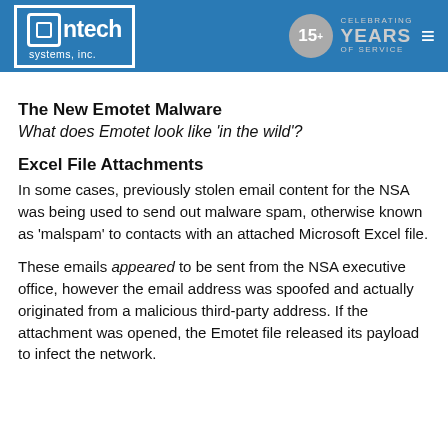Ontech systems, inc. — 15+ Celebrating Years of Service
The New Emotet Malware
What does Emotet look like 'in the wild'?
Excel File Attachments
In some cases, previously stolen email content for the NSA was being used to send out malware spam, otherwise known as 'malspam' to contacts with an attached Microsoft Excel file.
These emails appeared to be sent from the NSA executive office, however the email address was spoofed and actually originated from a malicious third-party address. If the attachment was opened, the Emotet file released its payload to infect the network.